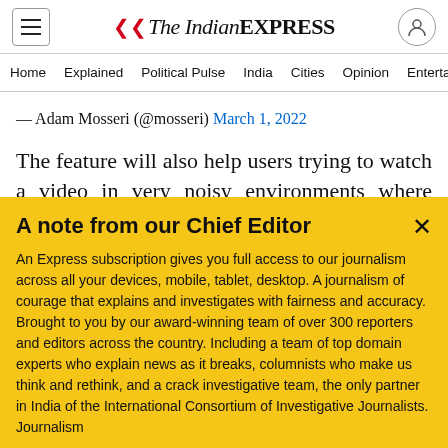The Indian Express — navigation header with Home, Explained, Political Pulse, India, Cities, Opinion, Entertainment
— Adam Mosseri (@mosseri) March 1, 2022
The feature will also help users trying to watch a video in very noisy environments where raising the volume may sometimes simply not be enough. If users need to understand a video better in such
A note from our Chief Editor
An Express subscription gives you full access to our journalism across all your devices, mobile, tablet, desktop. A journalism of courage that explains and investigates with fairness and accuracy. Brought to you by our award-winning team of over 300 reporters and editors across the country. Including a team of top domain experts who explain news as it breaks, columnists who make us think and rethink, and a crack investigative team, the only partner in India of the International Consortium of Investigative Journalists. Journalism